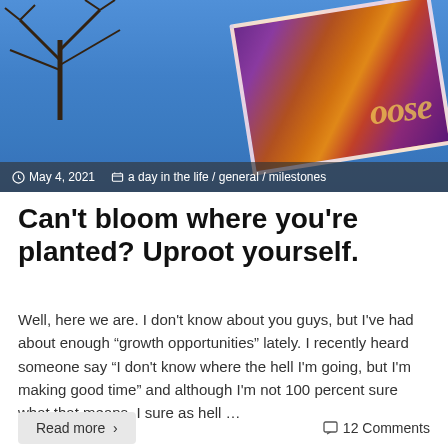[Figure (photo): Outdoor photo showing bare tree branches against a blue sky, with a colorful abstract art print (purple, orange, red, yellow swirls with partial text 'oose') held at an angle in the foreground. Overlay bar shows date and categories.]
May 4, 2021  a day in the life / general / milestones
Can't bloom where you're planted? Uproot yourself.
Well, here we are. I don't know about you guys, but I've had about enough “growth opportunities” lately. I recently heard someone say “I don't know where the hell I'm going, but I'm making good time” and although I'm not 100 percent sure what that means, I sure as hell …
Read more ›
12 Comments